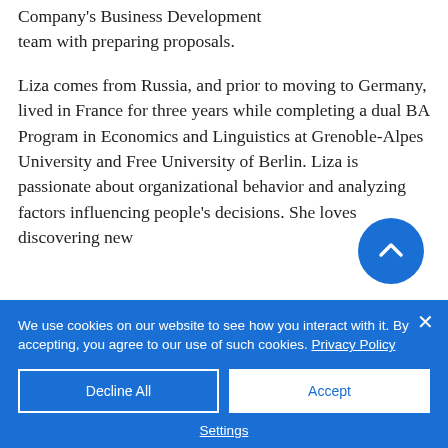Company's Business Development team with preparing proposals.
Liza comes from Russia, and prior to moving to Germany, lived in France for three years while completing a dual BA Program in Economics and Linguistics at Grenoble-Alpes University and Free University of Berlin. Liza is passionate about organizational behavior and analyzing factors influencing people's decisions. She loves discovering new
We use cookies on our website to see how you interact with it. By accepting, you agree to our use of such cookies. Privacy Policy
Decline All
Accept
Settings